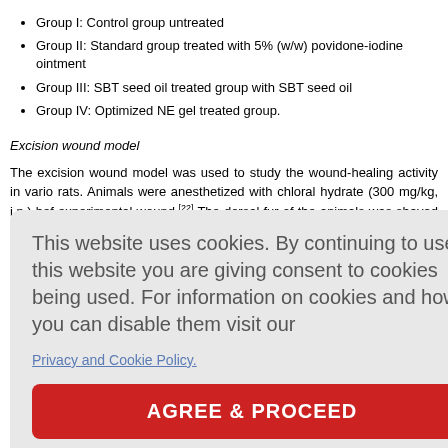Group I: Control group untreated
Group II: Standard group treated with 5% (w/w) povidone-iodine ointment
Group III: SBT seed oil treated group with SBT seed oil
Group IV: Optimized NE gel treated group.
Excision wound model
The excision wound model was used to study the wound-healing activity in various rats. Animals were anesthetized with chloral hydrate (300 mg/kg, i.p.) before experimental wound.[22] The dorsal fur of the animals was shaved and the excision wound and pointed s h, 15th, 18th observed for markers, i.e
This website uses cookies. By continuing to use this website you are giving consent to cookies being used. For information on cookies and how you can disable them visit our Privacy and Cookie Policy.
was measured s calculated